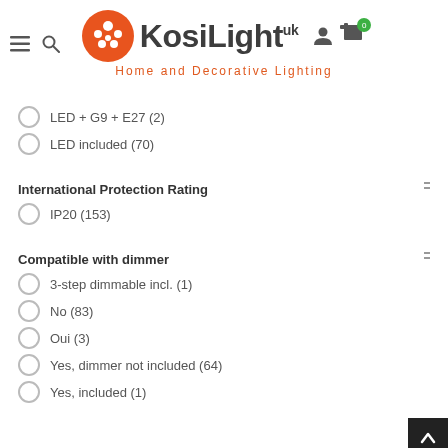[Figure (logo): KosiLight UK logo with orange circle containing white dots, brand name KosiLight with UK superscript, and orange tagline 'Home and Decorative Lighting']
LED + G9 + E27 (2)
LED included (70)
International Protection Rating
IP20 (153)
Compatible with dimmer
3-step dimmable incl. (1)
No (83)
Oui (3)
Yes, dimmer not included (64)
Yes, included (1)